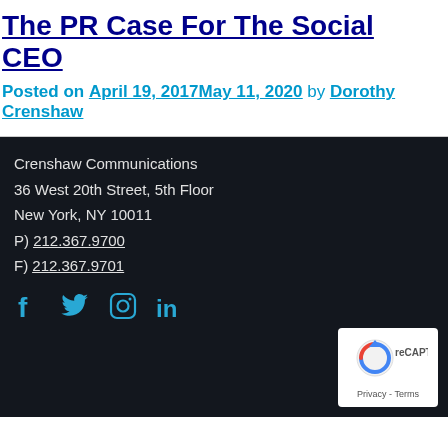The PR Case For The Social CEO
Posted on April 19, 2017May 11, 2020 by Dorothy Crenshaw
Crenshaw Communications
36 West 20th Street, 5th Floor
New York, NY 10011
P) 212.367.9700
F) 212.367.9701
[Figure (infographic): Social media icons: Facebook, Twitter, Instagram, LinkedIn in cyan color on dark background]
[Figure (logo): reCAPTCHA badge with Privacy and Terms links]